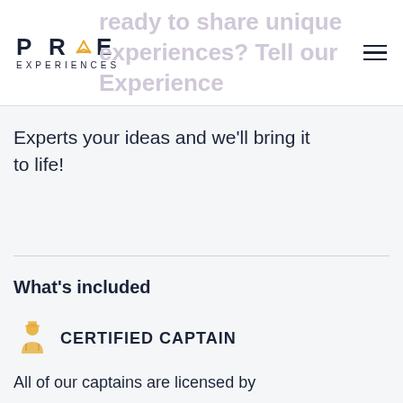PRIME EXPERIENCES
ready to share unique experiences? Tell our Experience
Experts your ideas and we'll bring it to life!
What's included
CERTIFIED CAPTAIN
All of our captains are licensed by